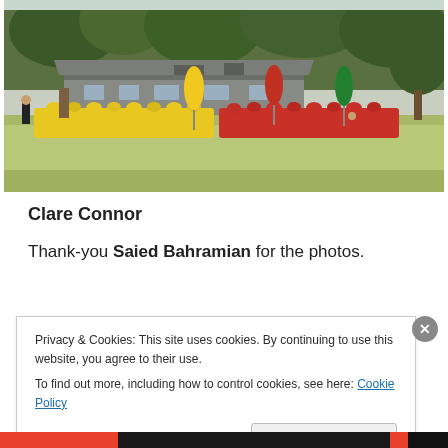[Figure (photo): Outdoor school sports day photo showing a large group of students in yellow and red uniforms seated on a grass field, with trees and a low building in the background, colorful teardrop-shaped banners visible]
Clare Connor
Thank-you Saied Bahramian for the photos.
Privacy & Cookies: This site uses cookies. By continuing to use this website, you agree to their use.
To find out more, including how to control cookies, see here: Cookie Policy
Close and accept